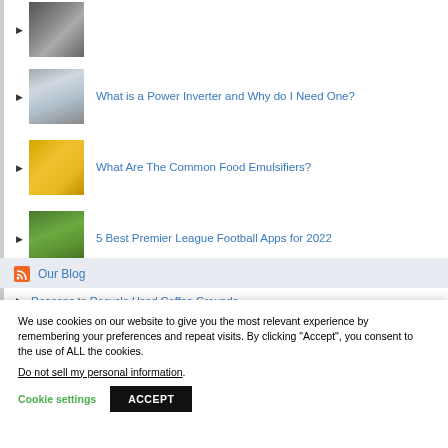[Figure (photo): Small thumbnail image at top, partially visible]
What is a Power Inverter and Why do I Need One?
What Are The Common Food Emulsifiers?
5 Best Premier League Football Apps for 2022
Our Blog
Reasons to Recycle Used Coffee Grounds
We use cookies on our website to give you the most relevant experience by remembering your preferences and repeat visits. By clicking “Accept”, you consent to the use of ALL the cookies.
Do not sell my personal information.
Cookie settings   ACCEPT